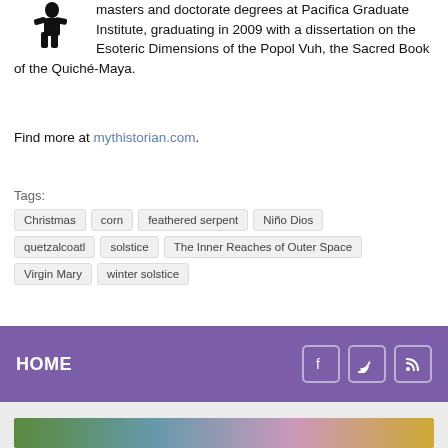masters and doctorate degrees at Pacifica Graduate Institute, graduating in 2009 with a dissertation on the Esoteric Dimensions of the Popol Vuh, the Sacred Book of the Quiché-Maya.
Find more at mythistorian.com.
Tags: Christmas  corn  feathered serpent  Niño Dios  quetzalcoatl  solstice  The Inner Reaches of Outer Space  Virgin Mary  winter solstice
HOME
[Figure (photo): Partial view of a person with blue hair against a green and yellow background]